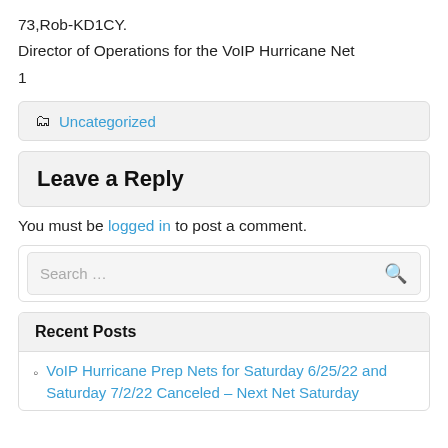73,Rob-KD1CY.
Director of Operations for the VoIP Hurricane Net
1
Uncategorized
Leave a Reply
You must be logged in to post a comment.
Search …
Recent Posts
VoIP Hurricane Prep Nets for Saturday 6/25/22 and Saturday 7/2/22 Canceled – Next Net Saturday